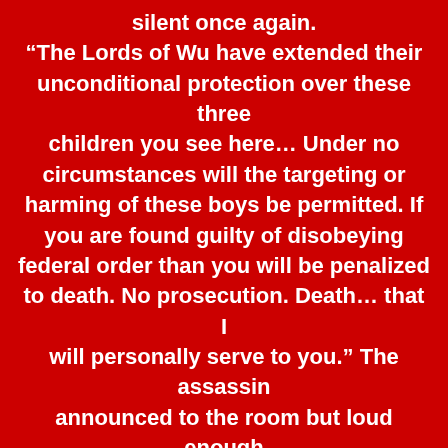silent once again. “The Lords of Wu have extended their unconditional protection over these three children you see here… Under no circumstances will the targeting or harming of these boys be permitted. If you are found guilty of disobeying federal order than you will be penalized to death. No prosecution. Death… that I will personally serve to you.” The assassin announced to the room but loud enough that the surrounding rooms would heed his warning. “Do I make myself clear!?” The assassin yelled through the room. The people were